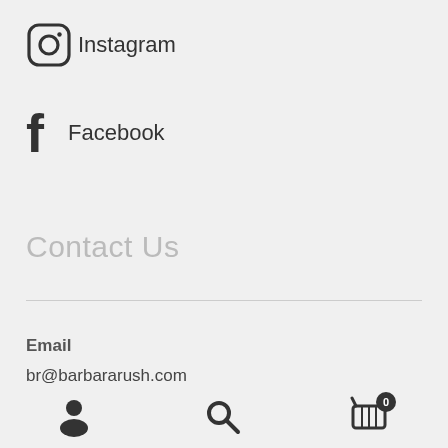Instagram
Facebook
Contact Us
Email
br@barbararush.com
Phone
[Figure (infographic): Bottom navigation bar with user icon, search icon, and shopping basket icon with badge showing 0]